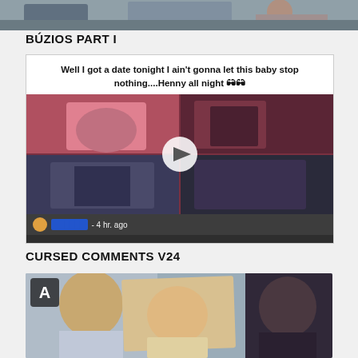[Figure (photo): Top partial image of people outdoors near water]
BÚZIOS PART I
[Figure (screenshot): Social media post screenshot showing text 'Well I got a date tonight I ain't gonna let this baby stop nothing....Henny all night' with images of pregnant belly, and a comment overlay 'Poor lil dude gonna come out like a 2x4', posted 4 hr. ago]
CURSED COMMENTS V24
[Figure (photo): Bottom partial image of people indoors, showing faces/crowd scene with overlay letter A icon]